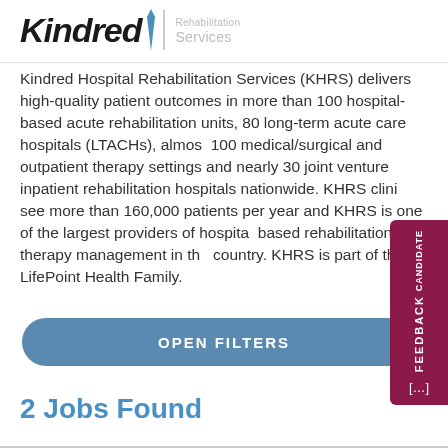[Figure (logo): Kindred logo with blue vertical bar separator and 'Rehabilitation Services' text in gray]
Kindred Hospital Rehabilitation Services (KHRS) delivers high-quality patient outcomes in more than 100 hospital-based acute rehabilitation units, 80 long-term acute care hospitals (LTACHs), almost 100 medical/surgical and outpatient therapy settings and nearly 30 joint venture inpatient rehabilitation hospitals nationwide. KHRS clinics see more than 160,000 patients per year and KHRS is one of the largest providers of hospital-based rehabilitation therapy management in the country. KHRS is part of the LifePoint Health Family.
2 Jobs Found